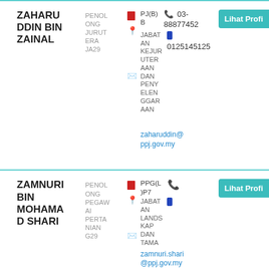ZAHARUDDIN BIN ZAINAL | PENOLONG JURUTERA JA29 | PJ(B)B | 03-88877452 | 0125145125 | JABATAN KEJURUTERAAN DAN PENYELENGGARAAN | zaharuddin@ppj.gov.my | Lihat Profil
ZAMNURI BIN MOHAMAD SHARI | PENOLONG PEGAWAI PERTANIAN G29 | PPG(L)P7 | JABATAN LANDSKAP DAN TAMA | zamnuri.shari@ppj.gov.my | Lihat Profil